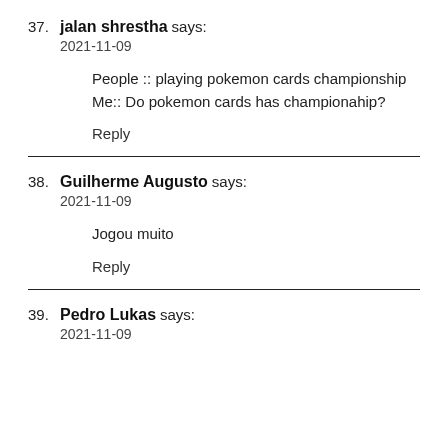37. jalan shrestha says:
2021-11-09

People :: playing pokemon cards championship
Me:: Do pokemon cards has championahip?

Reply
38. Guilherme Augusto says:
2021-11-09

Jogou muito

Reply
39. Pedro Lukas says:
2021-11-09